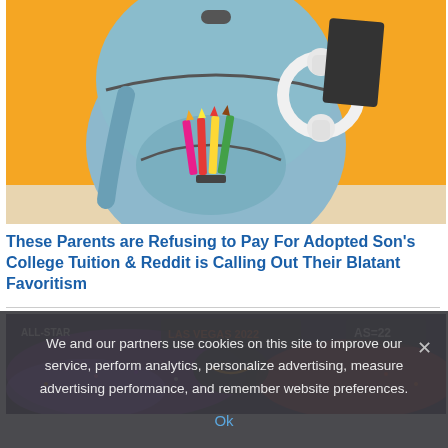[Figure (photo): A light blue backpack with colored pencils in the front pocket and white headphones on the side, set against an orange background on a white surface.]
These Parents are Refusing to Pay For Adopted Son's College Tuition & Reddit is Calling Out Their Blatant Favoritism
[Figure (photo): A partial view of a sports arena or stadium interior showing purple-lit crowd and scoreboard with 'AS-22' visible.]
We and our partners use cookies on this site to improve our service, perform analytics, personalize advertising, measure advertising performance, and remember website preferences.
Ok